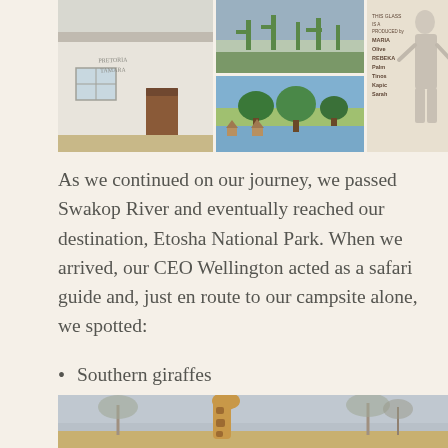[Figure (photo): Photo collage of three scenes: a white building with painted text on its wall (left), a cactus landscape at top middle, a lake/waterfront scene with trees at bottom middle, and a mural on a wall depicting a figure with text listing names including Maria, Olive, Rebeka, Palm, Tinoc, Kapic, Sarah (right)]
As we continued on our journey, we passed Swakop River and eventually reached our destination, Etosha National Park. When we arrived, our CEO Wellington acted as a safari guide and, just en route to our campsite alone, we spotted:
Southern giraffes
[Figure (photo): Photo of a southern giraffe in a dry landscape with bare trees in the background]